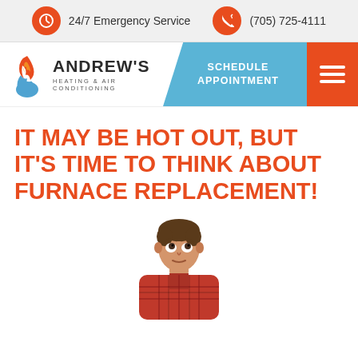24/7 Emergency Service  (705) 725-4111
[Figure (logo): Andrew's Heating & Air Conditioning logo with flame icon, Schedule Appointment button, and hamburger menu]
IT MAY BE HOT OUT, BUT IT'S TIME TO THINK ABOUT FURNACE REPLACEMENT!
[Figure (photo): A man looking upward, wearing a red and black plaid shirt, shown from chest up, white background]